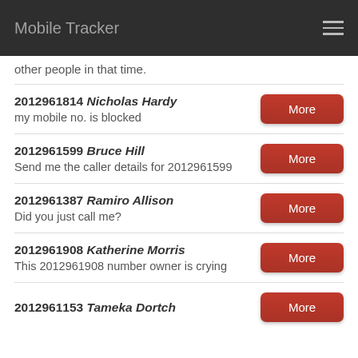Mobile Tracker
other people in that time.
2012961814 Nicholas Hardy — my mobile no. is blocked
2012961599 Bruce Hill — Send me the caller details for 2012961599
2012961387 Ramiro Allison — Did you just call me?
2012961908 Katherine Morris — This 2012961908 number owner is crying
2012961153 Tameka Dortch